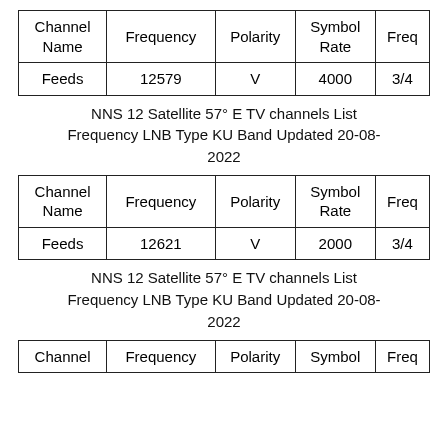| Channel Name | Frequency | Polarity | Symbol Rate | Freq |
| --- | --- | --- | --- | --- |
| Feeds | 12579 | V | 4000 | 3/4 |
NNS 12 Satellite 57° E TV channels List Frequency LNB Type KU Band Updated 20-08-2022
| Channel Name | Frequency | Polarity | Symbol Rate | Freq |
| --- | --- | --- | --- | --- |
| Feeds | 12621 | V | 2000 | 3/4 |
NNS 12 Satellite 57° E TV channels List Frequency LNB Type KU Band Updated 20-08-2022
| Channel | Frequency | Polarity | Symbol | Freq |
| --- | --- | --- | --- | --- |